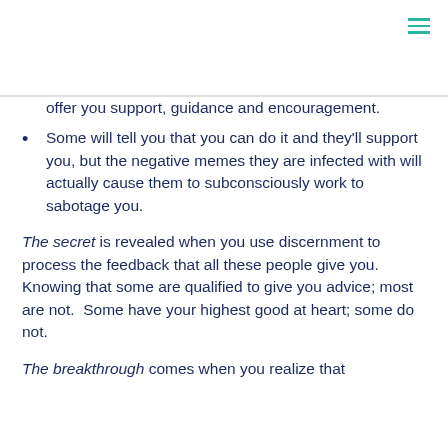offer you support, guidance and encouragement.
Some will tell you that you can do it and they'll support you, but the negative memes they are infected with will actually cause them to subconsciously work to sabotage you.
The secret is revealed when you use discernment to process the feedback that all these people give you.  Knowing that some are qualified to give you advice; most are not.  Some have your highest good at heart; some do not.
The breakthrough comes when you realize that